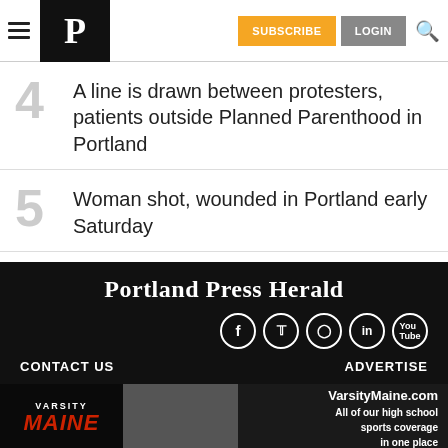Portland Press Herald — SUBSCRIBE | LOGIN
4 A line is drawn between protesters, patients outside Planned Parenthood in Portland
5 Woman shot, wounded in Portland early Saturday
Portland Press Herald — CONTACT US | ADVERTISE
[Figure (screenshot): Advertisement banner for VarsityMaine.com — All of our high school sports coverage in one place]